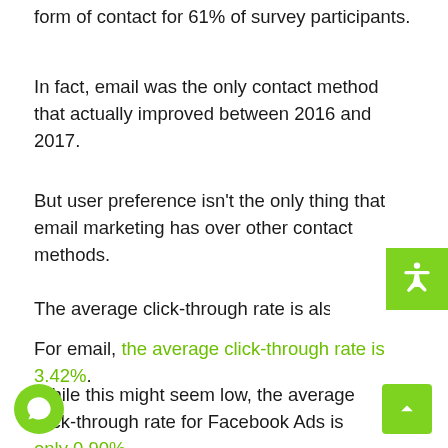form of contact for 61% of survey participants.
In fact, email was the only contact method that actually improved between 2016 and 2017.
But user preference isn't the only thing that email marketing has over other contact methods.
The average click-through rate is also much highe
For email, the average click-through rate is 3.42%.
While this might seem low, the average click-through rate for Facebook Ads is only 0.90%.